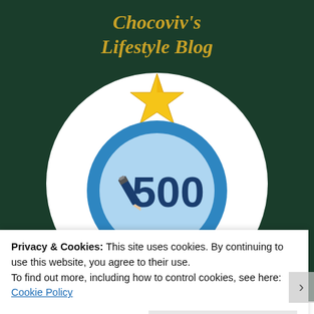Chocoviv's Lifestyle Blog
[Figure (illustration): A badge/achievement graphic on a dark green background. A large white circle contains a blue circular badge with a pencil/eraser icon and the number 500. A gold star sits at the top of the white circle. Red ribbon chevrons appear at the bottom sides of the white circle.]
Congratulations on writing 500 posts on Chocoviv's
Privacy & Cookies: This site uses cookies. By continuing to use this website, you agree to their use.
To find out more, including how to control cookies, see here: Cookie Policy
Close and accept